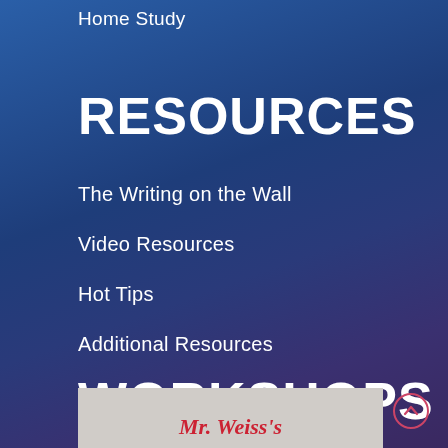Home Study
RESOURCES
The Writing on the Wall
Video Resources
Hot Tips
Additional Resources
WORKSHOPS
[Figure (photo): Thumbnail image showing handwritten text 'Mr. Weiss's' in red cursive on a light background]